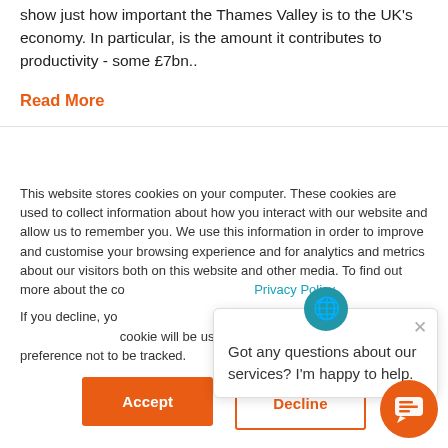show just how important the Thames Valley is to the UK's economy. In particular, is the amount it contributes to productivity - some £7bn..
Read More
This website stores cookies on your computer. These cookies are used to collect information about how you interact with our website and allow us to remember you. We use this information in order to improve and customise your browsing experience and for analytics and metrics about our visitors both on this website and other media. To find out more about the cookies we use, see our Privacy Policy.
If you decline, your information won't be tracked when you visit this website. A single cookie will be used in your browser to remember your preference not to be tracked.
[Figure (illustration): Chat popup with globe/coin icon and text: Got any questions about our services? I'm happy to help. With a close X button.]
Got any questions about our services? I'm happy to help.
Accept
Decline